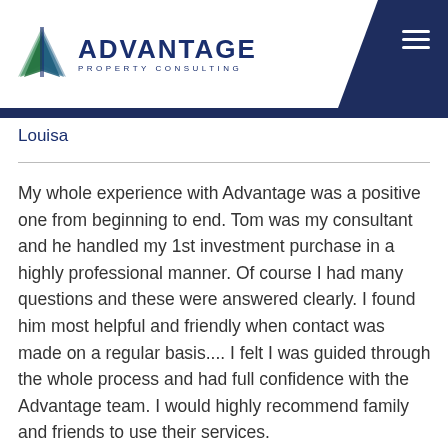[Figure (logo): Advantage Property Consulting logo with stylized mountain/wave icon in blue-green and navy text]
Louisa
My whole experience with Advantage was a positive one from beginning to end. Tom was my consultant and he handled my 1st investment purchase in a highly professional manner. Of course I had many questions and these were answered clearly. I found him most helpful and friendly when contact was made on a regular basis.... I felt I was guided through the whole process and had full confidence with the Advantage team. I would highly recommend family and friends to use their services.